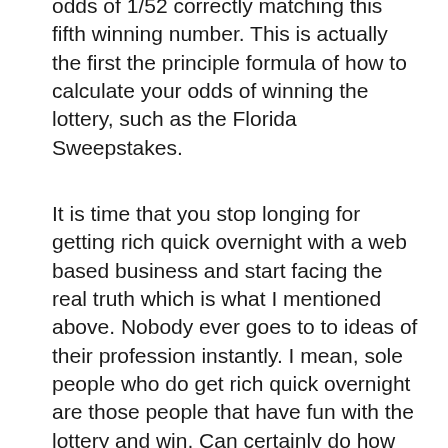odds of 1/52 correctly matching this fifth winning number. This is actually the first the principle formula of how to calculate your odds of winning the lottery, such as the Florida Sweepstakes.
It is time that you stop longing for getting rich quick overnight with a web based business and start facing the real truth which is what I mentioned above. Nobody ever goes to to ideas of their profession instantly. I mean, sole people who do get rich quick overnight are those people that have fun with the lottery and win. Can certainly do how many other successful people do online or a person take unique Get Rich Quick 100 % free route and fail.